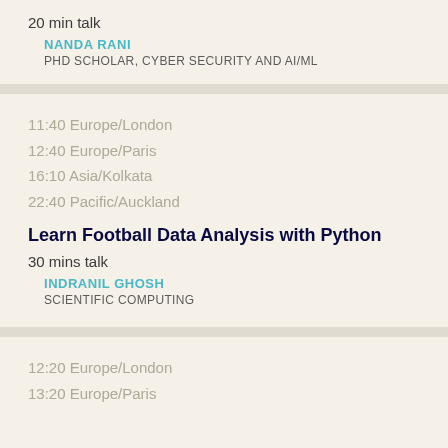20 min talk
NANDA RANI
PHD SCHOLAR, CYBER SECURITY AND AI/ML
11:40 Europe/London
12:40 Europe/Paris
16:10 Asia/Kolkata
22:40 Pacific/Auckland
Learn Football Data Analysis with Python
30 mins talk
INDRANIL GHOSH
SCIENTIFIC COMPUTING
12:20 Europe/London
13:20 Europe/Paris